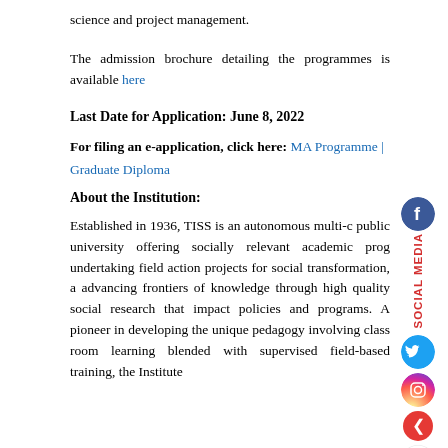science and project management.
The admission brochure detailing the programmes is available here
Last Date for Application: June 8, 2022
For filing an e-application, click here: MA Programme | Graduate Diploma
About the Institution:
Established in 1936, TISS is an autonomous multi-c public university offering socially relevant academic prog undertaking field action projects for social transformation, a advancing frontiers of knowledge through high quality social research that impact policies and programs. A pioneer in developing the unique pedagogy involving class room learning blended with supervised field-based training, the Institute
[Figure (infographic): Social media sidebar with Facebook, Twitter, Instagram icons, a back arrow, and YouTube icon. Vertical red text reading 'Social Media'.]